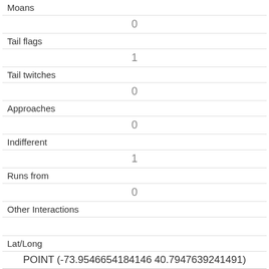| Moans | 0 |
| Tail flags | 1 |
| Tail twitches | 0 |
| Approaches | 0 |
| Indifferent | 1 |
| Runs from | 0 |
| Other Interactions |  |
| Lat/Long | POINT (-73.9546654184146 40.7947639241491) |
| Link | 193 |
| rowid | 193 |